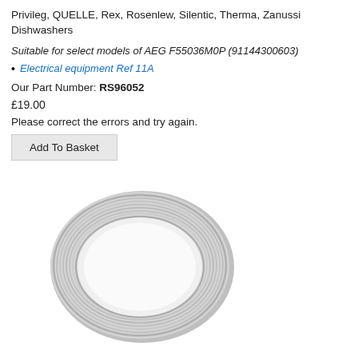Privileg, QUELLE, Rex, Rosenlew, Silentic, Therma, Zanussi Dishwashers
Suitable for select models of AEG F55036M0P (91144300603)
Electrical equipment Ref 11A
Our Part Number: RS96052
£19.00
Please correct the errors and try again.
Add To Basket
[Figure (photo): Photo of a gray rubber gasket/seal ring for a dishwasher]